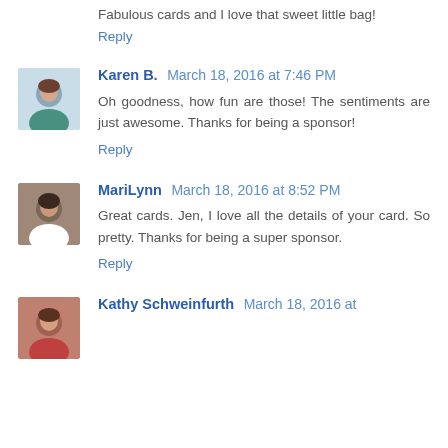Fabulous cards and I love that sweet little bag!
Reply
Karen B.  March 18, 2016 at 7:46 PM
Oh goodness, how fun are those! The sentiments are just awesome. Thanks for being a sponsor!
Reply
MariLynn  March 18, 2016 at 8:52 PM
Great cards. Jen, I love all the details of your card. So pretty. Thanks for being a super sponsor.
Reply
Kathy Schweinfurth  March 18, 2016 at